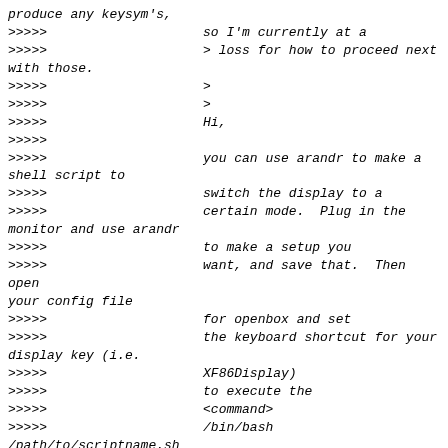produce any keysym's,
>>>>>                    so I'm currently at a
>>>>>                    > loss for how to proceed next
with those.
>>>>>                    >
>>>>>                    >
>>>>>                    Hi,
>>>>>
>>>>>                    you can use arandr to make a
shell script to
>>>>>                    switch the display to a
>>>>>                    certain mode.  Plug in the
monitor and use arandr
>>>>>                    to make a setup you
>>>>>                    want, and save that.  Then open
your config file
>>>>>                    for openbox and set
>>>>>                    the keyboard shortcut for your
display key (i.e.
>>>>>                    XF86Display)
>>>>>                    to execute the
>>>>>                    <command>
>>>>>                    /bin/bash /path/to/scriptname.sh
>>>>>                    </command>
>>>>>                    while scriptname.sh is whatever
you saved the
>>>>>                    setup as with the correct
>>>>>                    path.
>>>>>
>>>>>                    arandr is a front-end for